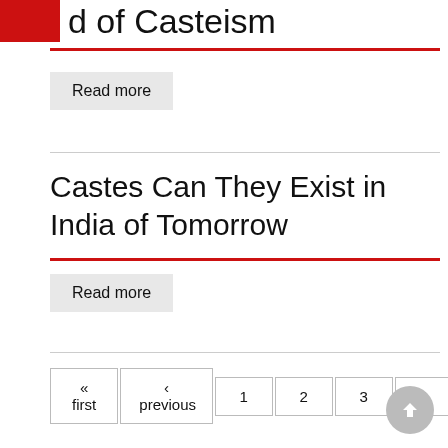d of Casteism
Read more
Castes Can They Exist in India of Tomorrow
Read more
« first ‹ previous 1 2 3 4 5